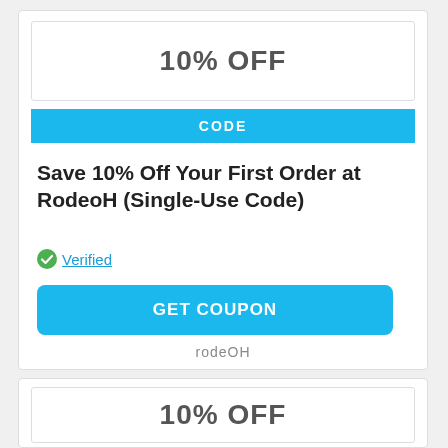10% OFF
CODE
Save 10% Off Your First Order at RodeoH (Single-Use Code)
Verified
GET COUPON
rodeOH
10% OFF